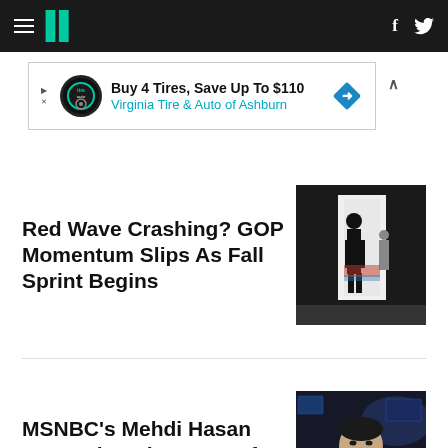HuffPost navigation with hamburger menu, logo, social icons (f, Twitter bird)
[Figure (infographic): Advertisement banner: Buy 4 Tires, Save Up To $110 - Virginia Tire & Auto of Ashburn]
Red Wave Crashing? GOP Momentum Slips As Fall Sprint Begins
[Figure (photo): Silhouette of a person standing in a doorway at a political rally event]
MSNBC's Mehdi Hasan Says What The 'Rest Of The World' Is Thinking About Trump
[Figure (photo): Mehdi Hasan speaking on MSNBC set, gesturing with hands]